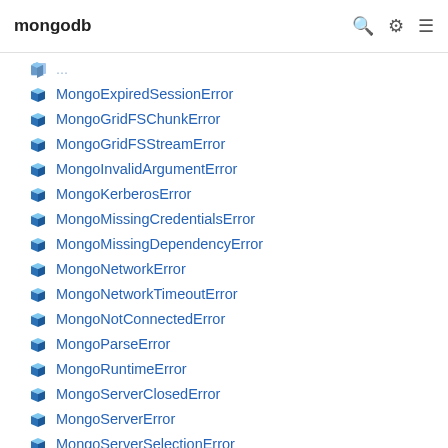mongodb
MongoExpiredSessionError
MongoGridFSChunkError
MongoGridFSStreamError
MongoInvalidArgumentError
MongoKerberosError
MongoMissingCredentialsError
MongoMissingDependencyError
MongoNetworkError
MongoNetworkTimeoutError
MongoNotConnectedError
MongoParseError
MongoRuntimeError
MongoServerClosedError
MongoServerError
MongoServerSelectionError
MongoSystemError
MongoTopologyClosedError
MongoTransactionError
MongoWriteConcernError